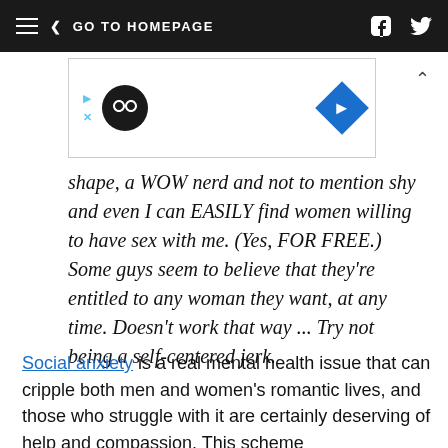GO TO HOMEPAGE
[Figure (other): Advertisement banner with infinity loop logo and blue diamond navigation icon]
shape, a WOW nerd and not to mention shy and even I can EASILY find women willing to have sex with me. (Yes, FOR FREE.) Some guys seem to believe that they're entitled to any woman they want, at any time. Doesn't work that way ... Try not being a self-centered jerk.
Social anxiety is a real mental health issue that can cripple both men and women's romantic lives, and those who struggle with it are certainly deserving of help and compassion. This scheme is it the answer The data the arc into a bird